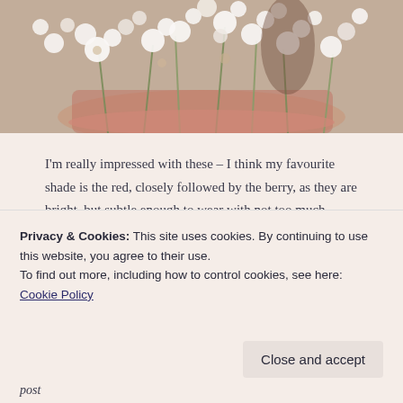[Figure (photo): Top portion of a photo showing white flowers and green stems in a pink/terracotta pot, photographed from above]
I'm really impressed with these – I think my favourite shade is the red, closely followed by the berry, as they are bright, but subtle enough to wear with not too much makeup. My lips feel ultra soft throughout the day too, which is ideal given that winter is coming up. And they smell gorgeous, which always helps!
(truncated/partially visible line of text)
Privacy & Cookies: This site uses cookies. By continuing to use this website, you agree to their use.
To find out more, including how to control cookies, see here: Cookie Policy
Close and accept
post